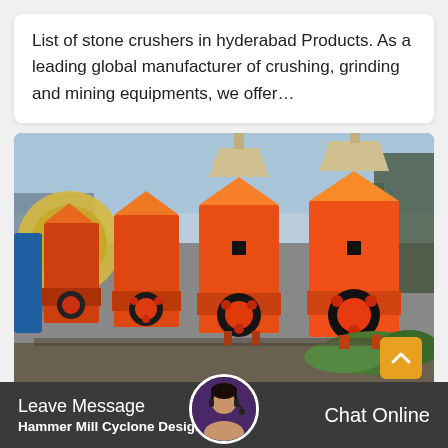List of stone crushers in hyderabad Products. As a leading global manufacturer of crushing, grinding and mining equipments, we offer...
[Figure (photo): Photograph of multiple orange and red hammer mill stone crusher machines lined up outdoors, with large yellow gear visible in background, set against a cloudy sky with trees and a shed structure.]
Leave Message  Hammer Mill Cyclone Design  Chat Online